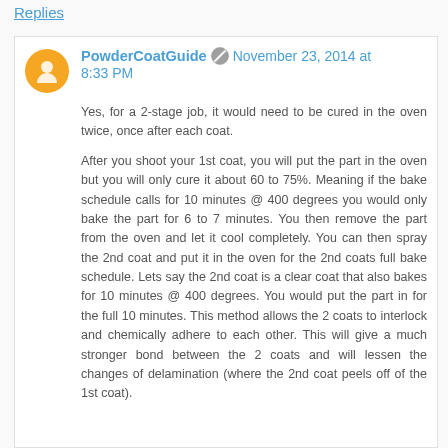Replies
PowderCoatGuide  November 23, 2014 at 8:33 PM
Yes, for a 2-stage job, it would need to be cured in the oven twice, once after each coat.

After you shoot your 1st coat, you will put the part in the oven but you will only cure it about 60 to 75%. Meaning if the bake schedule calls for 10 minutes @ 400 degrees you would only bake the part for 6 to 7 minutes. You then remove the part from the oven and let it cool completely. You can then spray the 2nd coat and put it in the oven for the 2nd coats full bake schedule. Lets say the 2nd coat is a clear coat that also bakes for 10 minutes @ 400 degrees. You would put the part in for the full 10 minutes. This method allows the 2 coats to interlock and chemically adhere to each other. This will give a much stronger bond between the 2 coats and will lessen the changes of delamination (where the 2nd coat peels off of the 1st coat).